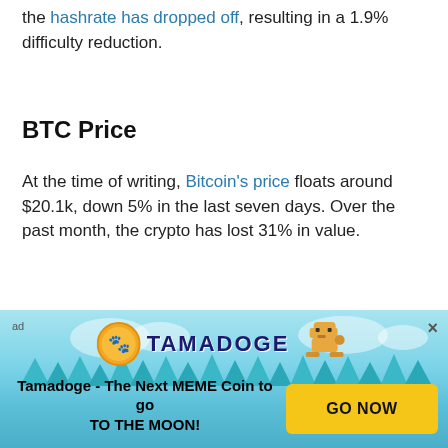the hashrate has dropped off, resulting in a 1.9% difficulty reduction.
BTC Price
At the time of writing, Bitcoin's price floats around $20.1k, down 5% in the last seven days. Over the past month, the crypto has lost 31% in value.
[Figure (continuous-plot): Bitcoin price line chart showing price fluctuations, with y-axis values ranging from approximately 20000.00 to 21080.00, with a highlighted value of 20188.58 at the rightmost point. The chart shows a sharp initial dip followed by recovery and a peak around 21600, then declining to around 20188.]
[Figure (infographic): Advertisement banner for Tamadoge - The Next MEME Coin to go TO THE MOON! with a coin logo, dog mascot, and GO NOW button in yellow.]